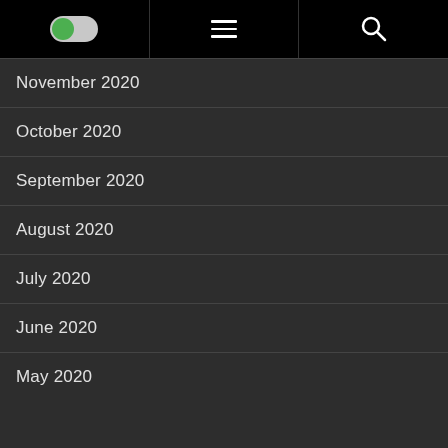Toggle | Menu | Search
November 2020
October 2020
September 2020
August 2020
July 2020
June 2020
May 2020